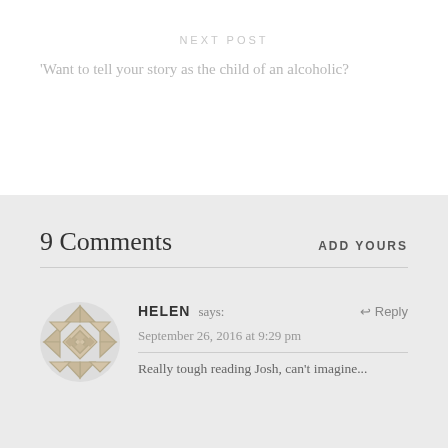NEXT POST
Want to tell your story as the child of an alcoholic?
9 Comments
ADD YOURS
HELEN says:
September 26, 2016 at 9:29 pm
Really tough reading Josh, can't imagine...